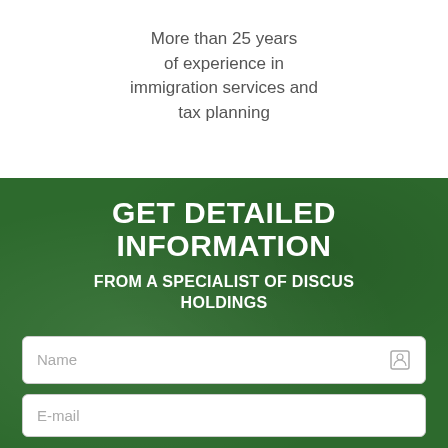More than 25 years of experience in immigration services and tax planning
GET DETAILED INFORMATION
FROM A SPECIALIST OF DISCUS HOLDINGS
Name
E-mail